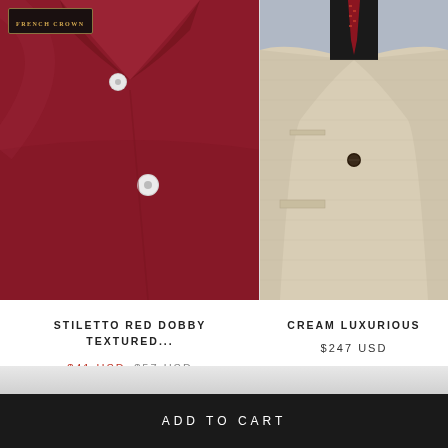[Figure (photo): Close-up of a stiletto red dobby textured dress shirt with French Crown label, showing collar and buttons]
[Figure (photo): Cream luxurious blazer/suit jacket worn with dark shirt and red patterned tie]
STILETTO RED DOBBY TEXTURED...
$41 USD $57 USD
CREAM LUXURIOUS
$247 USD
ADD TO CART